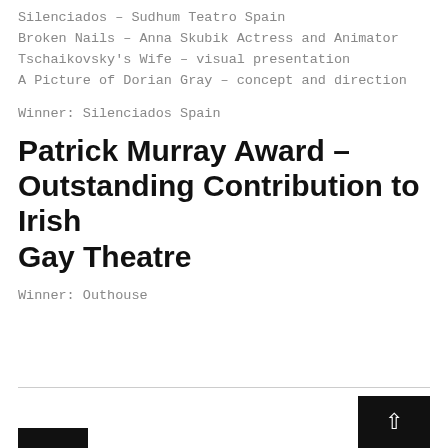Silenciados – Sudhum Teatro Spain
Broken Nails – Anna Skubik Actress and Animator
Tschaikovsky's Wife – visual presentation
A Picture of Dorian Gray – concept and direction
Winner: Silenciados Spain
Patrick Murray Award – Outstanding Contribution to Irish Gay Theatre
Winner: Outhouse